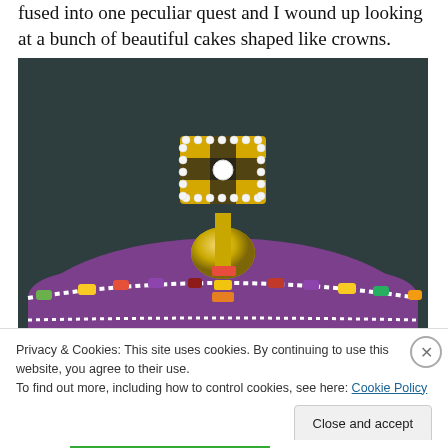fused into one peculiar quest and I wound up looking at a bunch of beautiful cakes shaped like crowns.
[Figure (photo): Close-up photo of a cake shaped like a royal crown. The crown has a gold cross-shaped ornament on top with pearl-like white beading and a round white pearl center. Below the cross is a gold orb shape. The main body of the crown is purple/violet with white pearl trim along the edges, and colorful candy jewels (green, yellow, red, purple) decorating the rim. Background is dark grey/black.]
Privacy & Cookies: This site uses cookies. By continuing to use this website, you agree to their use.
To find out more, including how to control cookies, see here: Cookie Policy
Close and accept